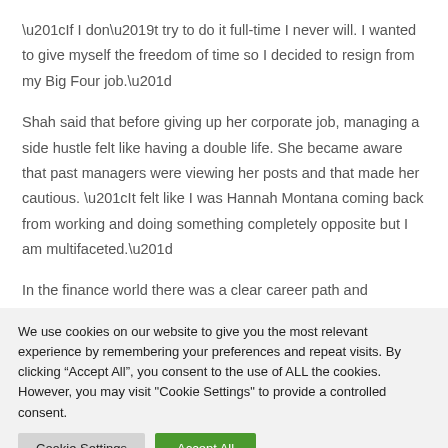“If I don’t try to do it full-time I never will. I wanted to give myself the freedom of time so I decided to resign from my Big Four job.”
Shah said that before giving up her corporate job, managing a side hustle felt like having a double life. She became aware that past managers were viewing her posts and that made her cautious. “It felt like I was Hannah Montana coming back from working and doing something completely opposite but I am multifaceted.”
In the finance world there was a clear career path and progression
We use cookies on our website to give you the most relevant experience by remembering your preferences and repeat visits. By clicking “Accept All”, you consent to the use of ALL the cookies. However, you may visit "Cookie Settings" to provide a controlled consent.